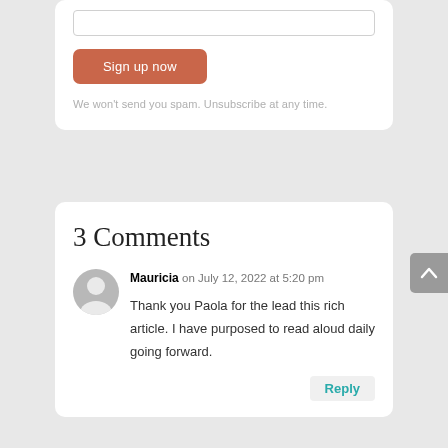[Figure (screenshot): Email input field (text box)]
Sign up now
We won't send you spam. Unsubscribe at any time.
3 Comments
Mauricia on July 12, 2022 at 5:20 pm
Thank you Paola for the lead this rich article. I have purposed to read aloud daily going forward.
Reply